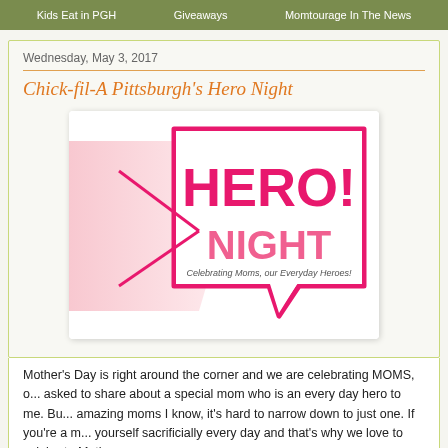Kids Eat in PGH   Giveaways   Momtourage In The News
Wednesday, May 3, 2017
Chick-fil-A Pittsburgh's Hero Night
[Figure (illustration): Hero Night promotional image with pink and white speech bubble shape. Large bold text reads HERO! NIGHT in hot pink with white outline. Subtitle reads: Celebrating Moms, our Everyday Heroes!]
Mother's Day is right around the corner and we are celebrating MOMS, o... asked to share about a special mom who is an every day hero to me. Bu... amazing moms I know, it's hard to narrow down to just one. If you're a m... yourself sacrificially every day and that's why we love to celebrate Mothe...